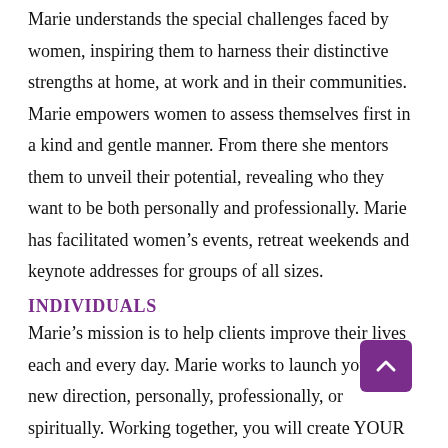Marie understands the special challenges faced by women, inspiring them to harness their distinctive strengths at home, at work and in their communities. Marie empowers women to assess themselves first in a kind and gentle manner. From there she mentors them to unveil their potential, revealing who they want to be both personally and professionally. Marie has facilitated women's events, retreat weekends and keynote addresses for groups of all sizes.
INDIVIDUALS
Marie's mission is to help clients improve their lives each and every day. Marie works to launch you in a new direction, personally, professionally, or spiritually. Working together, you will create YOUR vision and be